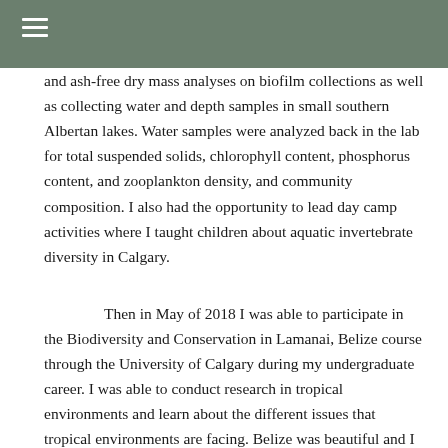≡
and ash-free dry mass analyses on biofilm collections as well as collecting water and depth samples in small southern Albertan lakes. Water samples were analyzed back in the lab for total suspended solids, chlorophyll content, phosphorus content, and zooplankton density, and community composition. I also had the opportunity to lead day camp activities where I taught children about aquatic invertebrate diversity in Calgary.
Then in May of 2018 I was able to participate in the Biodiversity and Conservation in Lamanai, Belize course through the University of Calgary during my undergraduate career. I was able to conduct research in tropical environments and learn about the different issues that tropical environments are facing. Belize was beautiful and I enjoyed my time there learning about the environment and getting to know the locals